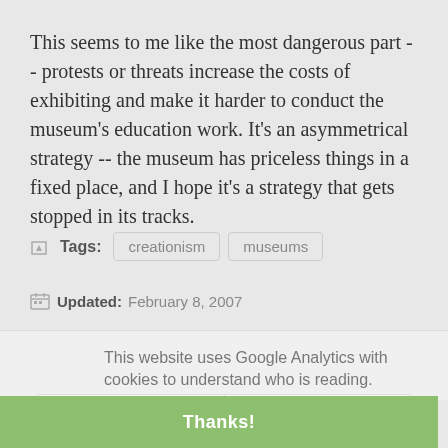This seems to me like the most dangerous part -- protests or threats increase the costs of exhibiting and make it harder to conduct the museum's education work. It's an asymmetrical strategy -- the museum has priceless things in a fixed place, and I hope it's a strategy that gets stopped in its tracks.
Tags: creationism  museums
Updated: February 8, 2007
This website uses Google Analytics with cookies to understand who is reading.
Privacy policy.
Next
Thanks!